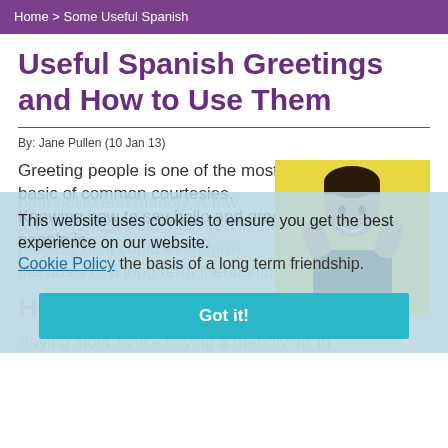Home > Some Useful Spanish
Useful Spanish Greetings and How to Use Them
By: Jane Pullen (10 Jan 13)
Greeting people is one of the most basic of common courtesies. Knowing how to say hello and greet people is both polite and friendly. A few simple phrases can help you in the process of, it could even form the basis of a long term friendship.
[Figure (photo): Man with dark hair on yellow background, hands raised to his face, smiling]
This website uses cookies to ensure you get the best experience on our website. Cookie Policy
Got it!
Hola
Saying 'hola' is like saying a friendly 'hi' in